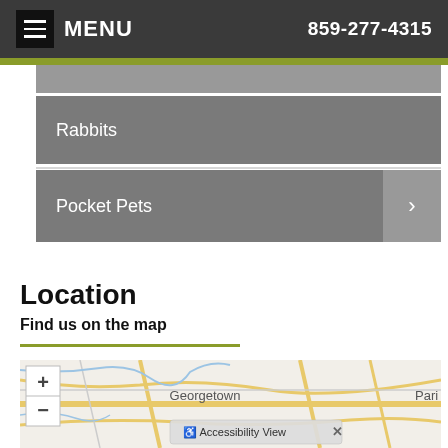MENU  859-277-4315
(partial menu item)
Rabbits
Pocket Pets
Location
Find us on the map
[Figure (map): Interactive street map showing Georgetown and Paris area with zoom controls and Accessibility View overlay button]